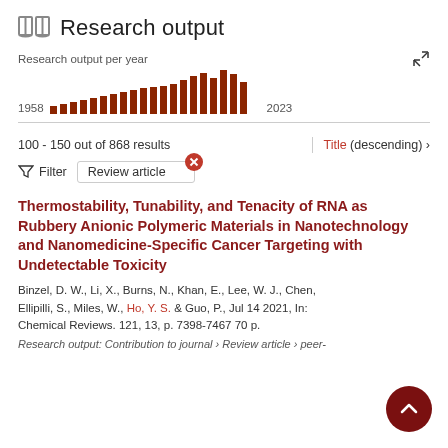Research output
[Figure (bar-chart): Research output per year]
100 - 150 out of 868 results
Title (descending) ›
Filter  Review article
Thermostability, Tunability, and Tenacity of RNA as Rubbery Anionic Polymeric Materials in Nanotechnology and Nanomedicine-Specific Cancer Targeting with Undetectable Toxicity
Binzel, D. W., Li, X., Burns, N., Khan, E., Lee, W. J., Chen, Ellipilli, S., Miles, W., Ho, Y. S. & Guo, P., Jul 14 2021, In: Chemical Reviews. 121, 13, p. 7398-7467 70 p.
Research output: Contribution to journal › Review article › peer-